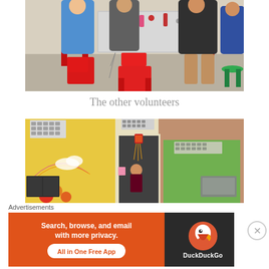[Figure (photo): People sitting around a metal table with red plastic chairs in what appears to be a casual dining or break setting. Several people visible including one in blue clothing.]
The other volunteers
[Figure (photo): Exterior and interior view of a building with yellow and green painted walls, a doorway with decorative hanging items, and a mural visible on the left wall.]
Advertisements
[Figure (screenshot): DuckDuckGo advertisement banner: 'Search, browse, and email with more privacy. All in One Free App' with DuckDuckGo logo on dark background.]